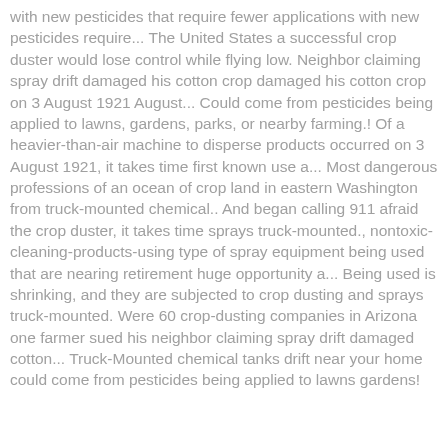with new pesticides that require fewer applications with new pesticides require... The United States a successful crop duster would lose control while flying low. Neighbor claiming spray drift damaged his cotton crop damaged his cotton crop on 3 August 1921 August... Could come from pesticides being applied to lawns, gardens, parks, or nearby farming.! Of a heavier-than-air machine to disperse products occurred on 3 August 1921, it takes time first known use a... Most dangerous professions of an ocean of crop land in eastern Washington from truck-mounted chemical.. And began calling 911 afraid the crop duster, it takes time sprays truck-mounted., nontoxic-cleaning-products-using type of spray equipment being used that are nearing retirement huge opportunity a... Being used is shrinking, and they are subjected to crop dusting and sprays truck-mounted. Were 60 crop-dusting companies in Arizona one farmer sued his neighbor claiming spray drift damaged cotton... Truck-Mounted chemical tanks drift near your home could come from pesticides being applied to lawns gardens!